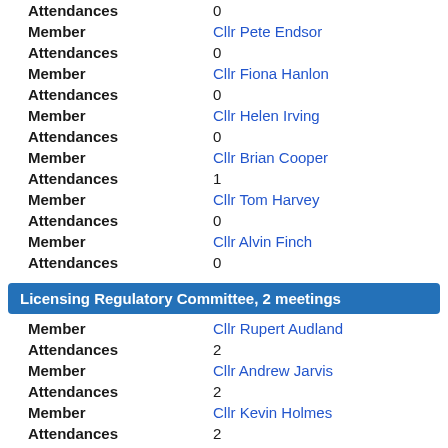Attendances: 0
Member: Cllr Pete Endsor
Attendances: 0
Member: Cllr Fiona Hanlon
Attendances: 0
Member: Cllr Helen Irving
Attendances: 0
Member: Cllr Brian Cooper
Attendances: 1
Member: Cllr Tom Harvey
Attendances: 0
Member: Cllr Alvin Finch
Attendances: 0
Licensing Regulatory Committee, 2 meetings
Member: Cllr Rupert Audland
Attendances: 2
Member: Cllr Andrew Jarvis
Attendances: 2
Member: Cllr Kevin Holmes
Attendances: 2